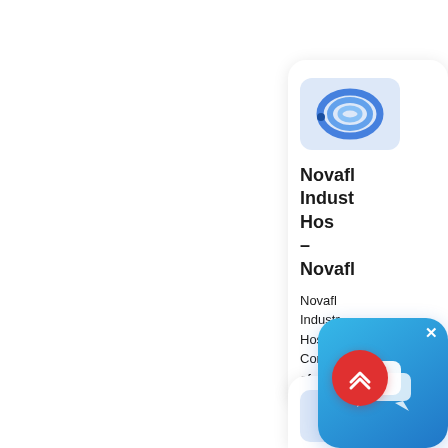[Figure (photo): Product card showing a coiled blue industrial air hose with title 'Novafl Indust Hos – Novafl' and description text 'Novafl Industr Hose. Compl of air,']
Novafl Indust Hos – Novafl
Novafl Industr Hose. Compl of air,
[Figure (screenshot): Chat popup overlay icon with speech bubbles on blue gradient background with close (x) button]
[Figure (illustration): Red scroll-to-top circular button with upward chevron arrows]
[Figure (photo): Bottom product card partially visible showing a dark product image]